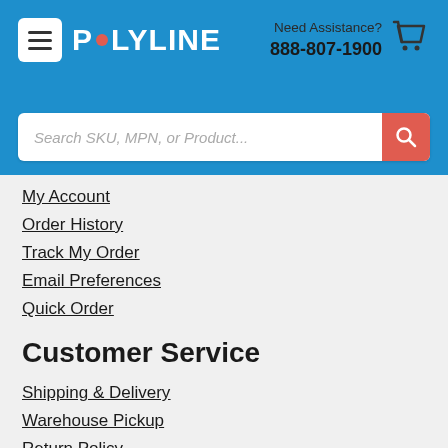[Figure (screenshot): Polyline website header with hamburger menu, logo, phone number, and search bar]
My Account
Order History
Track My Order
Email Preferences
Quick Order
Customer Service
Shipping & Delivery
Warehouse Pickup
Return Policy
International Orders
Contact Us